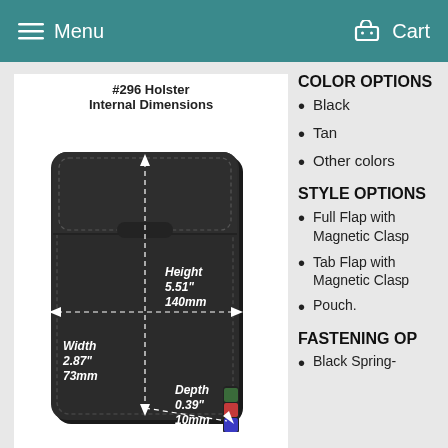Menu   Cart
[Figure (engineering-diagram): #296 Holster internal dimensions diagram showing a black leather holster with dashed dimension lines indicating Height 5.51" 140mm, Width 2.87" 73mm, Depth 0.39" 10mm]
COLOR OPTIONS
Black
Tan
Other colors
STYLE OPTIONS
Full Flap with Magnetic Clasp
Tab Flap with Magnetic Clasp
Pouch.
FASTENING OPTIONS
Black Spring-...